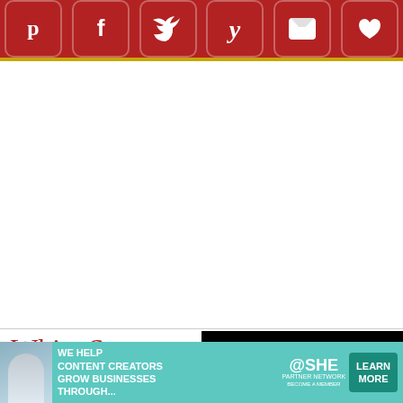[Figure (screenshot): Social media sharing bar with icons for Pinterest, Facebook, Twitter, Yummly, Flipboard, and a heart/save button on a red background with gold bottom border]
White Sang...
| Quick Glance |
| --- |
| 10 M |
INGREDIENTS  US  M...
1 (26-ounce) bottle Aparing...
[Figure (screenshot): Video player overlay showing a loading spinner (C icon) on black background with progress bar and playback controls showing 05:15 timestamp]
[Figure (screenshot): Advertisement banner: SHE Media Partner Network - We help content creators grow businesses through... Learn More]